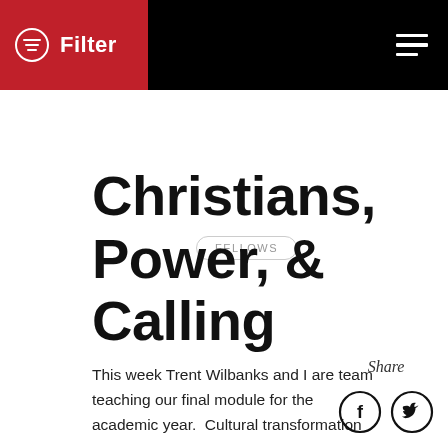Filter
FELLOWS
Christians, Power, & Calling
This week Trent Wilbanks and I are team teaching our final module for the academic year.  Cultural transformation
Share